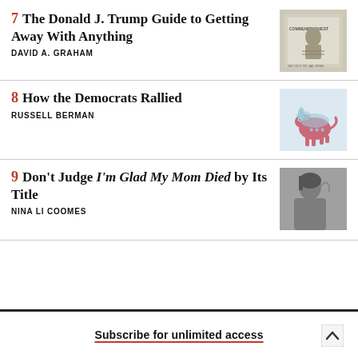7 The Donald J. Trump Guide to Getting Away With Anything — DAVID A. GRAHAM
8 How the Democrats Rallied — RUSSELL BERMAN
9 Don't Judge I'm Glad My Mom Died by Its Title — NINA LI COOMES
Subscribe for unlimited access